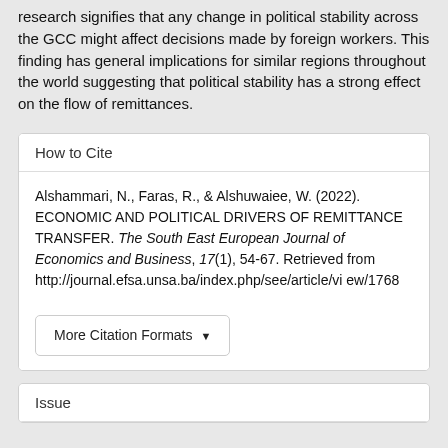research signifies that any change in political stability across the GCC might affect decisions made by foreign workers. This finding has general implications for similar regions throughout the world suggesting that political stability has a strong effect on the flow of remittances.
How to Cite
Alshammari, N., Faras, R., & Alshuwaiee, W. (2022). ECONOMIC AND POLITICAL DRIVERS OF REMITTANCE TRANSFER. The South East European Journal of Economics and Business, 17(1), 54-67. Retrieved from http://journal.efsa.unsa.ba/index.php/see/article/view/1768
Issue